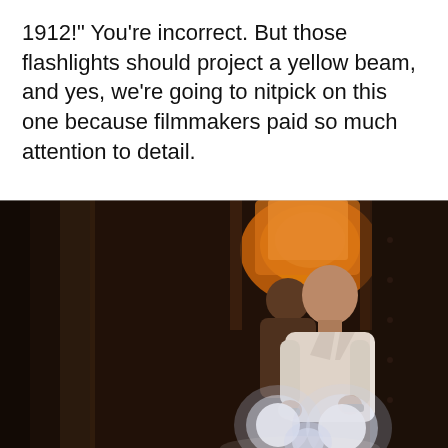1912!" You're incorrect. But those flashlights should project a yellow beam, and yes, we're going to nitpick on this one because filmmakers paid so much attention to detail.
[Figure (photo): A dark corridor scene from what appears to be a period film. Two men in white shirts walk through a dimly lit hallway. The man in the foreground holds flashlights that emit bright white beams of light. The background shows a warm orange-yellow glow from a doorway. The setting appears to be inside a ship.]